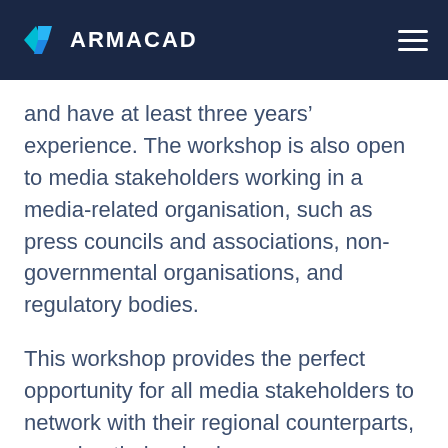ARMACAD
and have at least three years' experience. The workshop is also open to media stakeholders working in a media-related organisation, such as press councils and associations, non-governmental organisations, and regulatory bodies.
This workshop provides the perfect opportunity for all media stakeholders to network with their regional counterparts, examine their roles in